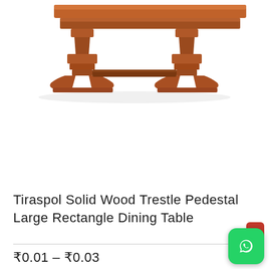[Figure (photo): Wooden trestle pedestal dining table with carved legs, shown from an angle on a white background. The table has a rich dark-brown finish with ornate turned and blocked pedestal legs connected by a central stretcher bar.]
Tiraspol Solid Wood Trestle Pedestal Large Rectangle Dining Table
₹0.01 – ₹0.03